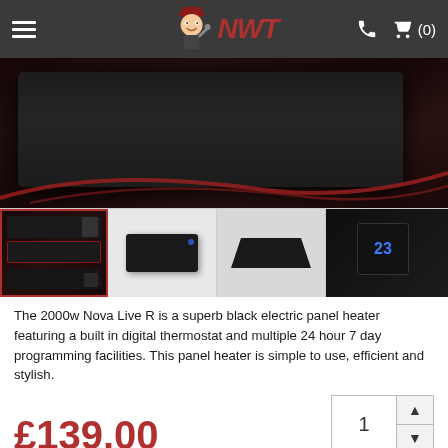NWT (navigation bar with logo, hamburger menu, phone icon, cart icon with (0))
[Figure (photo): Large product image of a black electric panel heater (2000w Nova Live R) against a dark background with red swoosh design elements]
[Figure (photo): Thumbnail gallery strip showing 4 views of the Nova Live R black electric panel heater: multi-panel view (selected, red border), side view, top view, and close-up with blue LED display]
The 2000w Nova Live R is a superb black electric panel heater featuring a built in digital thermostat and multiple 24 hour 7 day programming facilities. This panel heater is simple to use, efficient and stylish.
£139.00